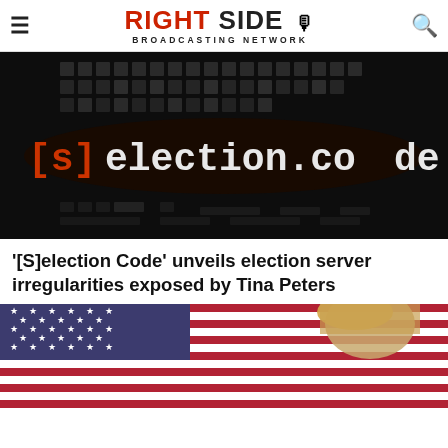RIGHT SIDE BROADCASTING NETWORK
[Figure (photo): Dark background with glowing text '[s]election.code' displayed in red and white monospace font, resembling a computer screen or digital display]
'[S]election Code' unveils election server irregularities exposed by Tina Peters
[Figure (photo): American flag with red and white stripes and white stars on blue field, with a person (appears to be Trump) visible on the right side]